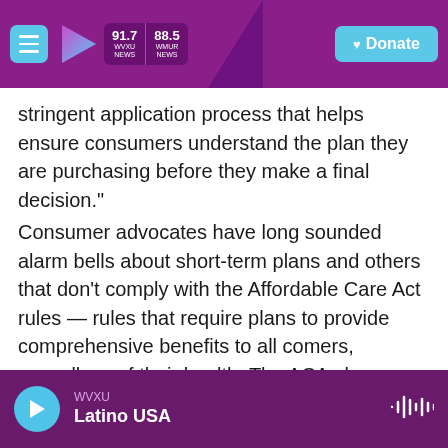WVXU 91.7 | WHUR 88.5 | Donate
stringent application process that helps ensure consumers understand the plan they are purchasing before they make a final decision."
Consumer advocates have long sounded alarm bells about short-term plans and others that don't comply with the Affordable Care Act rules — rules that require plans to provide comprehensive benefits to all comers, regardless of their health. The ACA also prohibits annual or lifetime dollar limits on coverage for any plan sold on the federal or state health insurance exchanges.
WVXU | Latino USA